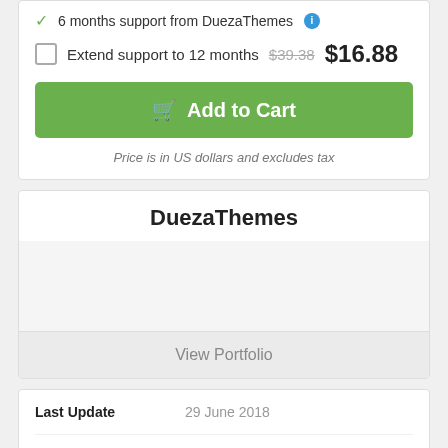6 months support from DuezaThemes
Extend support to 12 months $39.38 $16.88
Add to Cart
Price is in US dollars and excludes tax
DuezaThemes
View Portfolio
|  |  |
| --- | --- |
| Last Update | 29 June 2018 |
| Published | 29 June 2018 |
| High Resolution | Yes |